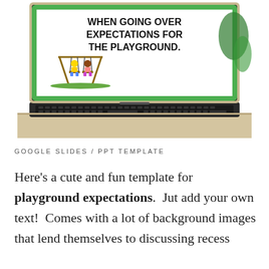[Figure (screenshot): Laptop computer displaying a green-bordered slide with bold text reading 'WHEN GOING OVER EXPECTATIONS FOR THE PLAYGROUND.' and cartoon children on a swing set]
GOOGLE SLIDES / PPT TEMPLATE
Here's a cute and fun template for playground expectations.  Jut add your own text!  Comes with a lot of background images that lend themselves to discussing recess